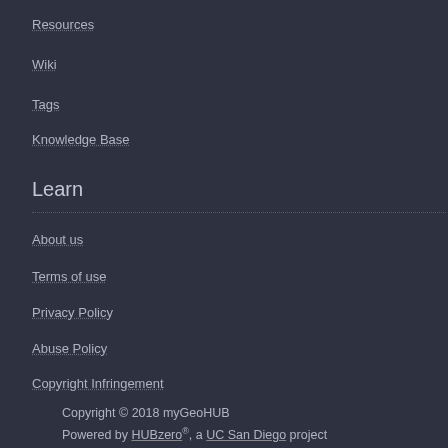Resources
Wiki
Tags
Knowledge Base
Learn
About us
Terms of use
Privacy Policy
Abuse Policy
Copyright Infringement
Copyright © 2018 myGeoHUB
Powered by HUBzero®, a UC San Diego project
Follow us @MyGeoHUB